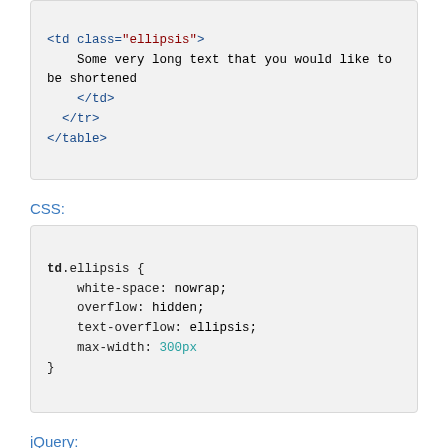<td class="ellipsis">
    Some very long text that you would like to be shortened
</td>
</tr>
</table>
CSS:
td.ellipsis {
    white-space: nowrap;
    overflow: hidden;
    text-overflow: ellipsis;
    max-width: 300px
}
jQuery:
$('.ellipsis').each(function (index) {
    var $this = $(this);
    var titleVal = $this.text();
    if (titleVal != '') {
        $this.attr('title', $.trim(titleVal));
    }
}